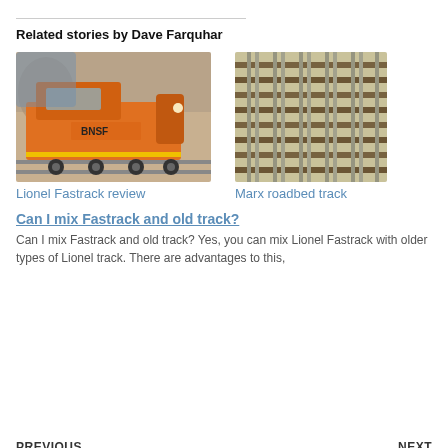Related stories by Dave Farquhar
[Figure (photo): Photo of an orange BNSF model train locomotive on tracks]
Lionel Fastrack review
[Figure (photo): Photo of multiple sections of Marx roadbed track laid out side by side]
Marx roadbed track
Can I mix Fastrack and old track?
Can I mix Fastrack and old track? Yes, you can mix Lionel Fastrack with older types of Lionel track. There are advantages to this,
PREVIOUS
NEXT